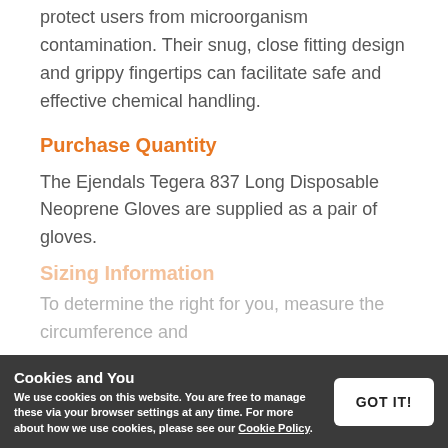protect users from microorganism contamination. Their snug, close fitting design and grippy fingertips can facilitate safe and effective chemical handling.
Purchase Quantity
The Ejendals Tegera 837 Long Disposable Neoprene Gloves are supplied as a pair of gloves.
Sizing Information
To determine the right for you, measure the circumference and
Cookies and You
We use cookies on this website. You are free to manage these via your browser settings at any time. For more about how we use cookies, please see our Cookie Policy.